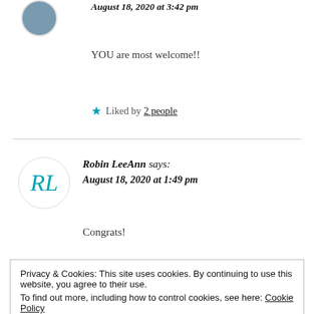August 18, 2020 at 3:42 pm
YOU are most welcome!!
★ Liked by 2 people
Robin LeeAnn says: August 18, 2020 at 1:49 pm
Congrats!
Privacy & Cookies: This site uses cookies. By continuing to use this website, you agree to their use.
To find out more, including how to control cookies, see here: Cookie Policy
Close and accept